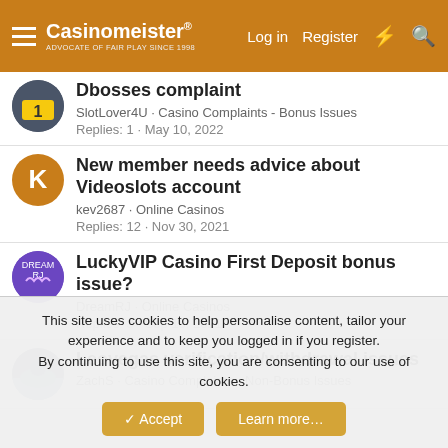Casinomeister — Log in  Register
Dbosses complaint — SlotLover4U · Casino Complaints - Bonus Issues — Replies: 1 · May 10, 2022
New member needs advice about Videoslots account — kev2687 · Online Casinos — Replies: 12 · Nov 30, 2021
LuckyVIP Casino First Deposit bonus issue? — DreamRJ · Online Casinos — Replies: 3 · Sep 18, 2021
Leovegas verification/withdrawal issues — ZachS · Casino Complaints - Non-Bonus Issues
This site uses cookies to help personalise content, tailor your experience and to keep you logged in if you register. By continuing to use this site, you are consenting to our use of cookies.